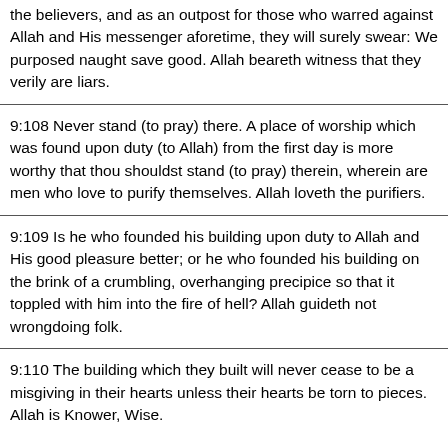the believers, and as an outpost for those who warred against Allah and His messenger aforetime, they will surely swear: We purposed naught save good. Allah beareth witness that they verily are liars.
9:108 Never stand (to pray) there. A place of worship which was found upon duty (to Allah) from the first day is more worthy that thou shouldst stand (to pray) therein, wherein are men who love to purify themselves. Allah loveth the purifiers.
9:109 Is he who founded his building upon duty to Allah and His good pleasure better; or he who founded his building on the brink of a crumbling, overhanging precipice so that it toppled with him into the fire of hell? Allah guideth not wrongdoing folk.
9:110 The building which they built will never cease to be a misgiving in their hearts unless their hearts be torn to pieces. Allah is Knower, Wise.